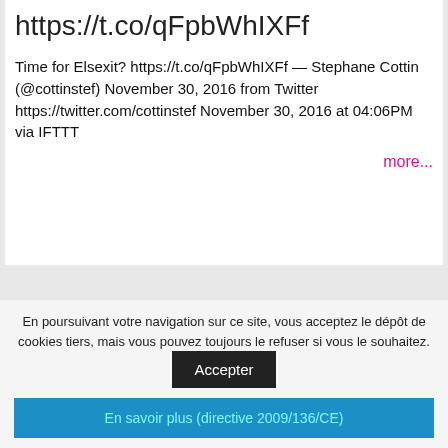https://t.co/qFpbWhIXFf
Time for Elsexit? https://t.co/qFpbWhIXFf — Stephane Cottin (@cottinstef) November 30, 2016 from Twitter https://twitter.com/cottinstef November 30, 2016 at 04:06PM via IFTTT
more...
Francophonie : des archivistes,
En poursuivant votre navigation sur ce site, vous acceptez le dépôt de cookies tiers, mais vous pouvez toujours le refuser si vous le souhaitez.
Accepter
En savoir plus (directive 2009/136/CE)